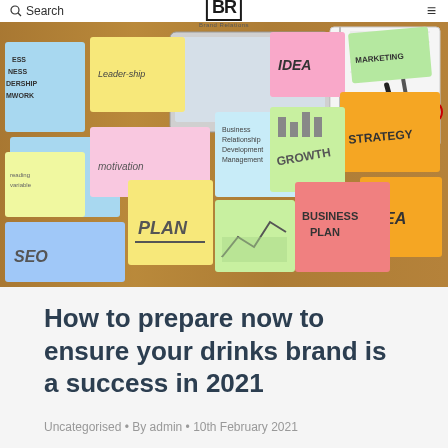Search | BR Brand Relations | Menu
[Figure (photo): Colorful sticky notes arranged on a wooden desk with business planning words including BUSINESS PLAN, Leadership, Motivation, IDEA, STRATEGY, GROWTH, PLAN, SEO, MARKETING on various colored sticky notes. A laptop, notebook, glasses, and pens are visible in the background.]
How to prepare now to ensure your drinks brand is a success in 2021
Uncategorised • By admin • 10th February 2021